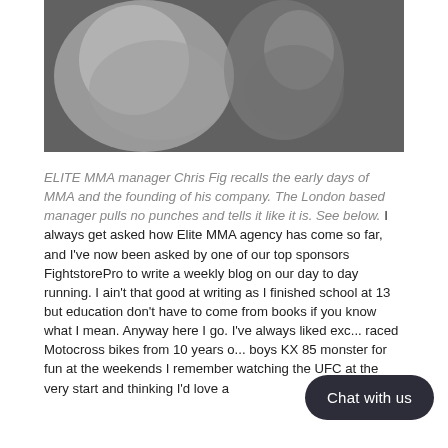[Figure (photo): Black and white blurred photo of two MMA fighters, one larger figure on the left and another on the right in a dark background.]
ELITE MMA manager Chris Fig recalls the early days of MMA and the founding of his company. The London based manager pulls no punches and tells it like it is. See below. I always get asked how Elite MMA agency has come so far, and I've now been asked by one of our top sponsors FightstorePro to write a weekly blog on our day to day running. I ain't that good at writing as I finished school at 13 but education don't have to come from books if you know what I mean. Anyway here I go. I've always liked exc... raced Motocross bikes from 10 years o... boys KX 85 monster for fun at the weekends I remember watching the UFC at the very start and thinking I'd love a